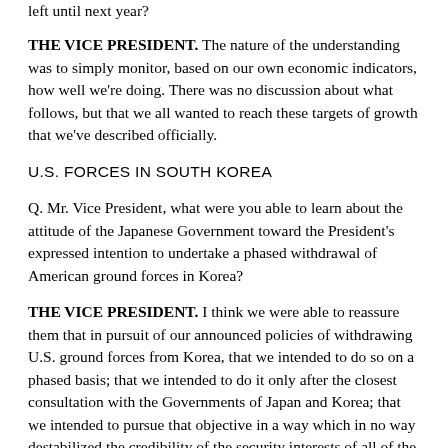left until next year?
THE VICE PRESIDENT. The nature of the understanding was to simply monitor, based on our own economic indicators, how well we're doing. There was no discussion about what follows, but that we all wanted to reach these targets of growth that we've described officially.
U.S. FORCES IN SOUTH KOREA
Q. Mr. Vice President, what were you able to learn about the attitude of the Japanese Government toward the President's expressed intention to undertake a phased withdrawal of American ground forces in Korea?
THE VICE PRESIDENT. I think we were able to reassure them that in pursuit of our announced policies of withdrawing U.S. ground forces from Korea, that we intended to do so on a phased basis; that we intended to do it only after the closest consultation with the Governments of Japan and Korea; that we intended to pursue that objective in a way which in no way destabilized the credibility of the security interests of all of the nations involved in the Pacific, and that we intended to do